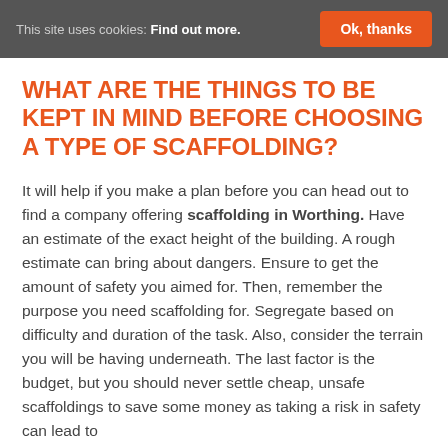This site uses cookies: Find out more.  Ok, thanks
WHAT ARE THE THINGS TO BE KEPT IN MIND BEFORE CHOOSING A TYPE OF SCAFFOLDING?
It will help if you make a plan before you can head out to find a company offering scaffolding in Worthing. Have an estimate of the exact height of the building. A rough estimate can bring about dangers. Ensure to get the amount of safety you aimed for. Then, remember the purpose you need scaffolding for. Segregate based on difficulty and duration of the task. Also, consider the terrain you will be having underneath. The last factor is the budget, but you should never settle cheap, unsafe scaffoldings to save some money as taking a risk in safety can lead to dangerous consequences.